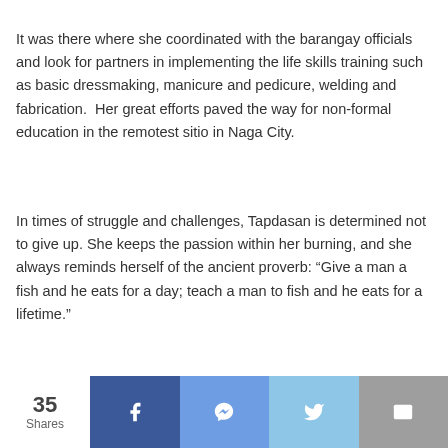It was there where she coordinated with the barangay officials and look for partners in implementing the life skills training such as basic dressmaking, manicure and pedicure, welding and fabrication.  Her great efforts paved the way for non-formal education in the remotest sitio in Naga City.
In times of struggle and challenges, Tapdasan is determined not to give up. She keeps the passion within her burning, and she always reminds herself of the ancient proverb: “Give a man a fish and he eats for a day; teach a man to fish and he eats for a lifetime.”
35 Shares